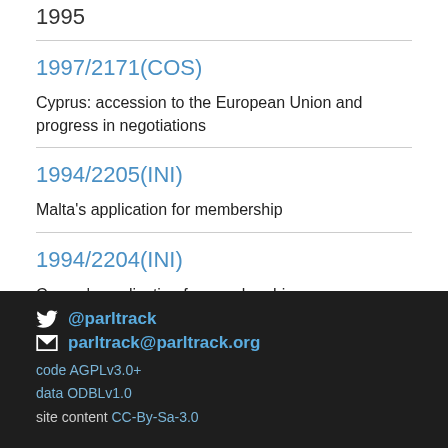1995
1997/2171(COS)
Cyprus: accession to the European Union and progress in negotiations
1994/2205(INI)
Malta's application for membership
1994/2204(INI)
Cyprus's application for membership
@parltrack
parltrack@parltrack.org
code AGPLv3.0+
data ODBLv1.0
site content CC-By-Sa-3.0